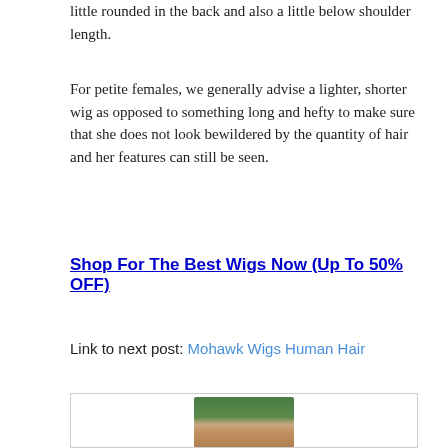little rounded in the back and also a little below shoulder length.
For petite females, we generally advise a lighter, shorter wig as opposed to something long and hefty to make sure that she does not look bewildered by the quantity of hair and her features can still be seen.
Shop For The Best Wigs Now (Up To 50% OFF)
Link to next post: Mohawk Wigs Human Hair
[Figure (photo): Partial view of a person's head with dark hair against a green background, shown at bottom of page in a bordered box]